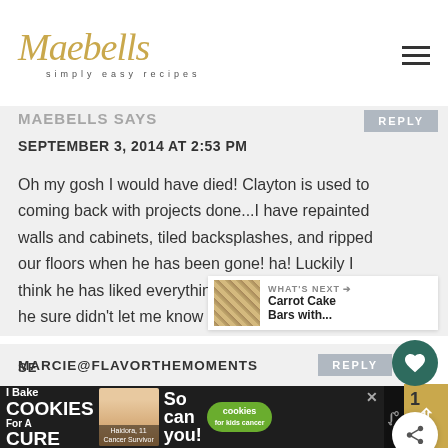Maebells simply easy recipes
MAEBELLS SAYS
SEPTEMBER 3, 2014 AT 2:53 PM
Oh my gosh I would have died! Clayton is used to coming back with projects done...I have repainted walls and cabinets, tiled backsplashes, and ripped our floors when he has been gone! ha! Luckily I think he has liked everything I have done. At least he sure didn't let me know if he didn't! ;)
WHAT'S NEXT → Carrot Cake Bars with...
MARCIE@FLAVORTHEMOMENTS
[Figure (photo): Advertisement banner: I Bake COOKIES For A CURE - Haidora, 11 Cancer Survivor - So can you! - cookies for kids cancer]